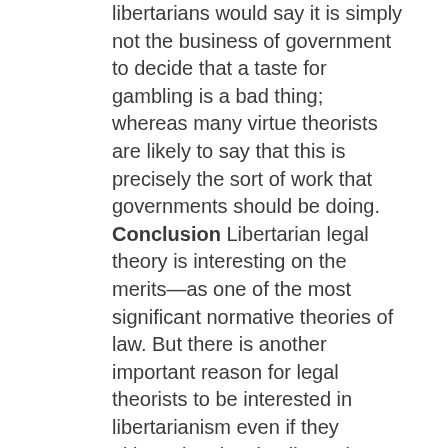libertarians would say it is simply not the business of government to decide that a taste for gambling is a bad thing; whereas many virtue theorists are likely to say that this is precisely the sort of work that governments should be doing. Conclusion Libertarian legal theory is interesting on the merits—as one of the most significant normative theories of law. But there is another important reason for legal theorists to be interested in libertarianism even if they ultimately reject it. Libertarian legal theories call into question the very purpose of law and government. A really careful evaluation of libertarianism requires that one form views about the function of law and the purposes of government, and to confront a variety of criticisms of conventional views about those topics. For that reason, thinking about libertarian legal theory is an excellent way of thinking about the most fundamental questions in normative legal theory.